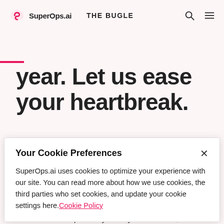SuperOps.ai  THE BUGLE
year. Let us ease your heartbreak.
Wait a minute, why are we saying goodbye to Datto? They have just been acquired by Kaseya for about $6.2 billion,
Your Cookie Preferences
SuperOps.ai uses cookies to optimize your experience with our site. You can read more about how we use cookies, the third parties who set cookies, and update your cookie settings here. Cookie Policy